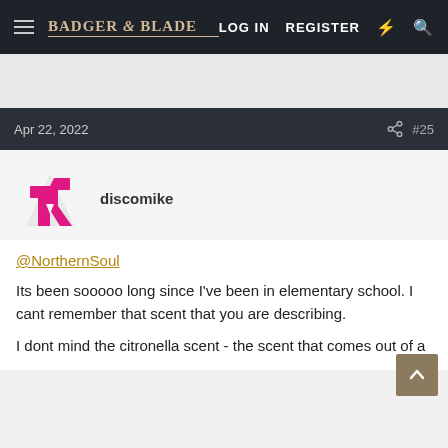Badger & Blade — LOG IN   REGISTER
Apr 22, 2022   #25
discomike
@NorthernSoul

Its been sooooo long since I've been in elementary school. I cant remember that scent that you are describing.

I dont mind the citronella scent - the scent that comes out of a